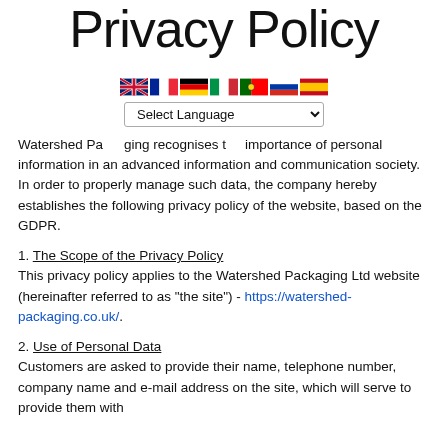Privacy Policy
[Figure (infographic): Row of country flag icons: UK, France, Germany, Italy, Portugal, Russia, Spain]
[Figure (screenshot): A 'Select Language' dropdown widget]
Watershed Packaging recognises the importance of personal information in an advanced information and communication society. In order to properly manage such data, the company hereby establishes the following privacy policy of the website, based on the GDPR.
1. The Scope of the Privacy Policy
This privacy policy applies to the Watershed Packaging Ltd website (hereinafter referred to as "the site") - https://watershed-packaging.co.uk/.
2. Use of Personal Data
Customers are asked to provide their name, telephone number, company name and e-mail address on the site, which will serve to provide them with